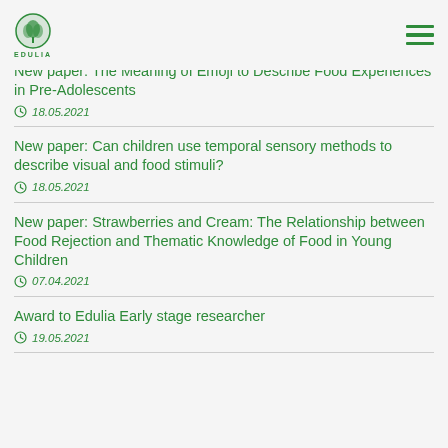EDULIA
New paper: The Meaning of Emoji to Describe Food Experiences in Pre-Adolescents
18.05.2021
New paper: Can children use temporal sensory methods to describe visual and food stimuli?
18.05.2021
New paper: Strawberries and Cream: The Relationship between Food Rejection and Thematic Knowledge of Food in Young Children
07.04.2021
Award to Edulia Early stage researcher
19.05.2021